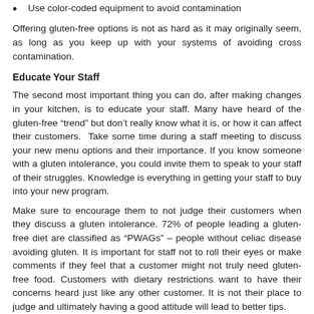Use color-coded equipment to avoid contamination
Offering gluten-free options is not as hard as it may originally seem, as long as you keep up with your systems of avoiding cross contamination.
Educate Your Staff
The second most important thing you can do, after making changes in your kitchen, is to educate your staff. Many have heard of the gluten-free “trend” but don’t really know what it is, or how it can affect their customers.  Take some time during a staff meeting to discuss your new menu options and their importance. If you know someone with a gluten intolerance, you could invite them to speak to your staff of their struggles. Knowledge is everything in getting your staff to buy into your new program.
Make sure to encourage them to not judge their customers when they discuss a gluten intolerance. 72% of people leading a gluten-free diet are classified as “PWAGs” – people without celiac disease avoiding gluten. It is important for staff not to roll their eyes or make comments if they feel that a customer might not truly need gluten-free food. Customers with dietary restrictions want to have their concerns heard just like any other customer. It is not their place to judge and ultimately having a good attitude will lead to better tips.
Adjusting Your Menu
There are several ways that your menu can become more gluten-free friendly. Offer gluten-free substitutes to some of your meals. Cornstarch can be a great substitute for flour in certain circumstances.  Order more gluten-free ingredients to have in your kitchen. That way if a customer asks if you have pasta noodles, you can accommodate them. They’ll certainly be appreciative of your forethought.